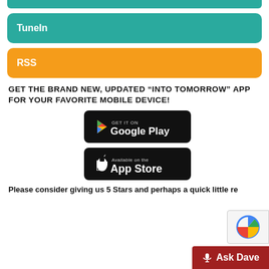[Figure (other): Teal/green partial button bar at top (cropped)]
TuneIn
RSS
GET THE BRAND NEW, UPDATED “INTO TOMORROW” APP FOR YOUR FAVORITE MOBILE DEVICE!
[Figure (other): Google Play store badge button]
[Figure (other): Apple App Store badge button]
Please consider giving us 5 Stars and perhaps a quick little re
[Figure (other): reCAPTCHA logo overlay (partial)]
Ask Dave